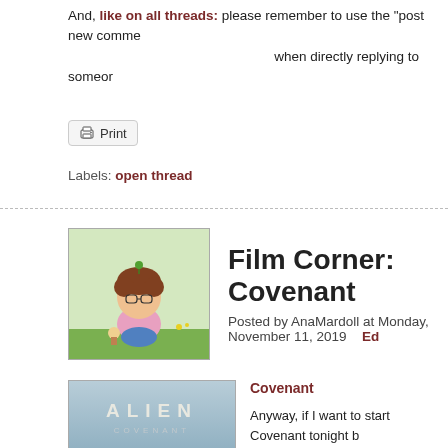And, like on all threads: please remember to use the "post new comme when directly replying to someon
Print
Labels: open thread
Film Corner: Covenant
Posted by AnaMardoll at Monday, November 11, 2019  Ed
[Figure (photo): Alien Covenant movie poster featuring the xenomorph creature against a cloudy sky background, with 'ALIEN COVENANT' text at top]
Covenant
Anyway, if I want to start Covenant tonight b
We open with David being turned on for the sees and feels. Weyland looks a LOT youn on Prometheus was an older android model about god and needing to meet one's creato have to serve Weyland if Weyland is ephem just... argh, no.